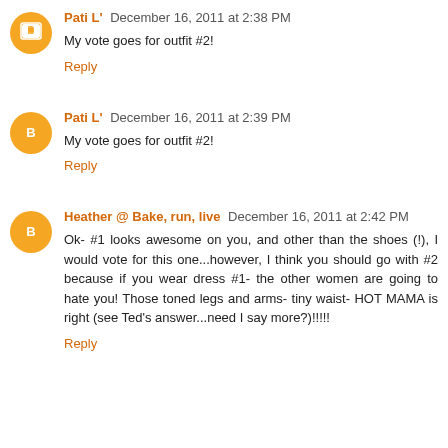Pati L' December 16, 2011 at 2:38 PM
My vote goes for outfit #2!
Reply
Pati L' December 16, 2011 at 2:39 PM
My vote goes for outfit #2!
Reply
Heather @ Bake, run, live December 16, 2011 at 2:42 PM
Ok- #1 looks awesome on you, and other than the shoes (!), I would vote for this one...however, I think you should go with #2 because if you wear dress #1- the other women are going to hate you! Those toned legs and arms- tiny waist- HOT MAMA is right (see Ted's answer...need I say more?)!!!!!
Reply